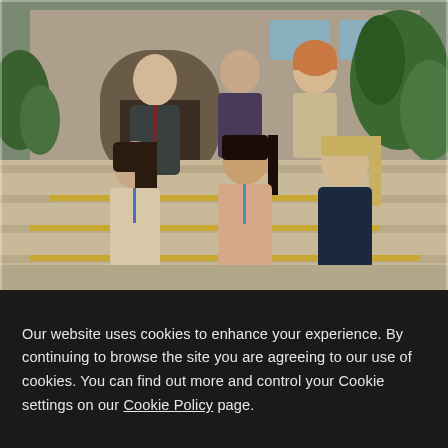[Figure (photo): Group photo of six people (one man in suit with tie, five women) posing on stone steps outside a building with brick architecture and tropical plants. Three people in front row, three in back row.]
Our website uses cookies to enhance your experience. By continuing to browse the site you are agreeing to our use of cookies. You can find out more and control your Cookie settings on our Cookie Policy page.